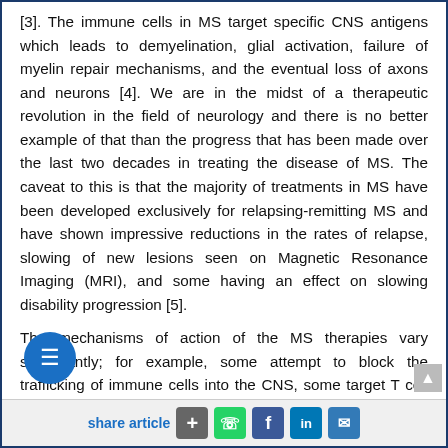[3]. The immune cells in MS target specific CNS antigens which leads to demyelination, glial activation, failure of myelin repair mechanisms, and the eventual loss of axons and neurons [4]. We are in the midst of a therapeutic revolution in the field of neurology and there is no better example of that than the progress that has been made over the last two decades in treating the disease of MS. The caveat to this is that the majority of treatments in MS have been developed exclusively for relapsing-remitting MS and have shown impressive reductions in the rates of relapse, slowing of new lesions seen on Magnetic Resonance Imaging (MRI), and some having an effect on slowing disability progression [5].
The mechanisms of action of the MS therapies vary significantly; for example, some attempt to block the trafficking of immune cells into the CNS, some target T cell activation, and others target functions of...
share article + [WhatsApp] [Facebook] [LinkedIn] [Email]